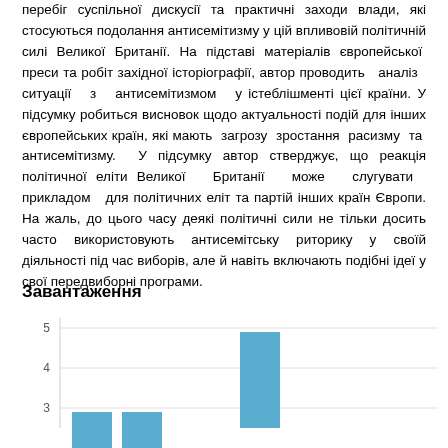перебіг суспільної дискусії та практичні заходи влади, які стосуються подолання антисемітизму у цій впливовій політичній силі Великої Британії. На підставі матеріалів європейської преси та робіт західної історіографії, автор проводить аналіз ситуації з антисемітизмом у істеблішменті цієї країни. У підсумку робиться висновок щодо актуальності подій для інших європейських країн, які мають загрозу зростання расизму та антисемітизму. У підсумку автор стверджує, що реакція політичної еліти Великої Британії може слугувати прикладом для політичних еліт та партій інших країн Європи. На жаль, до цього часу деякі політичні сили не тільки досить часто використовують антисемітську риторику у своїй діяльності під час виборів, але й навіть включають подібні ідеї у свої передвиборні програми.
Завантаження
[Figure (bar-chart): Bar chart partially visible showing y-axis values 3, 4, 5 with a tall light-blue bar visible and a shorter bar at left. Chart is cut off at bottom of page.]